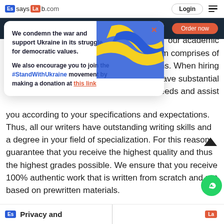EssaysLab.com | Login
We condemn the war and support Ukraine in its struggle for democratic values.

We also encourage you to join the #StandWithUkraine movement by making a donation at this link
our academic m comprises of nations. When hiring they have substantial needs and assist you according to your specifications and expectations. Thus, all our writers have outstanding writing skills and a degree in your field of specialization. For this reason, guarantee that you receive the highest quality and thus the highest grades possible. We ensure that you receive 100% authentic work that is written from scratch and not based on prewritten materials.
Privacy and